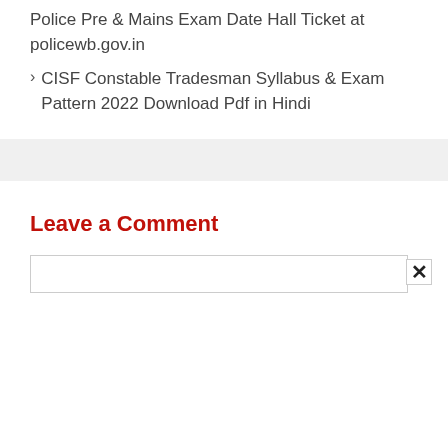Police Pre & Mains Exam Date Hall Ticket at policewb.gov.in
CISF Constable Tradesman Syllabus & Exam Pattern 2022 Download Pdf in Hindi
Leave a Comment